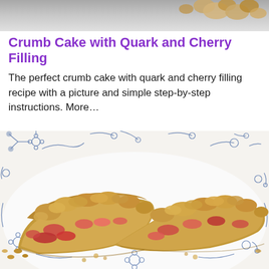[Figure (photo): Partial photo at top of page showing crumbled baked goods on a light gray background]
Crumb Cake with Quark and Cherry Filling
The perfect crumb cake with quark and cherry filling recipe with a picture and simple step-by-step instructions. More…
[Figure (photo): Close-up photo of two slices of crumb cake with quark and cherry filling, served on a white plate with blue floral pattern. The cake shows golden crumb topping with visible cherry/fruit pieces.]